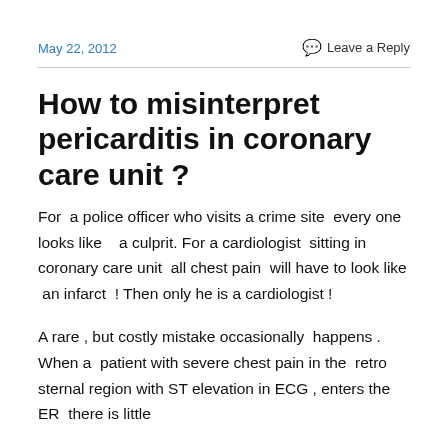May 22, 2012
Leave a Reply
How to misinterpret pericarditis in coronary care unit ?
For  a police officer who visits a crime site  every one looks like   a culprit. For a cardiologist  sitting in coronary care unit  all chest pain  will have to look like  an infarct  ! Then only he is a cardiologist !
A rare , but costly mistake occasionally  happens . When a  patient with severe chest pain in the  retro sternal region with ST elevation in ECG , enters the ER  there is little